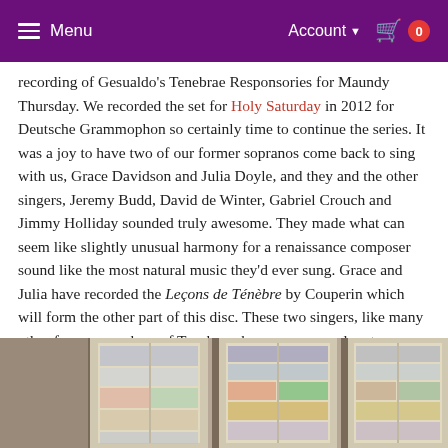Menu   Account ▼   0
recording of Gesualdo's Tenebrae Responsories for Maundy Thursday. We recorded the set for Holy Saturday in 2012 for Deutsche Grammophon so certainly time to continue the series. It was a joy to have two of our former sopranos come back to sing with us, Grace Davidson and Julia Doyle, and they and the other singers, Jeremy Budd, David de Winter, Gabriel Crouch and Jimmy Holliday sounded truly awesome. They made what can seem like slightly unusual harmony for a renaissance composer sound like the most natural music they'd ever sung. Grace and Julia have recorded the Leçons de Ténèbre by Couperin which will form the other part of this disc. These two singers, like many other former members of Tenebrae, have now moved on to performing as soloists throughout the world but it was no surprise that their ensemble skills were every bit as razor sharp as when they sang with us all those years ago. I think this disc is a real treat so do look out for a performance of this repertoire at the CD launch event early next year.
[Figure (photo): Interior photograph showing stained glass windows in a church or cathedral]